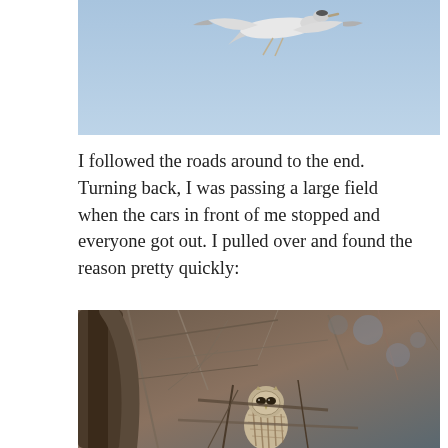[Figure (photo): A large white bird (likely a crane or swan) in flight against a pale blue sky, viewed from below.]
I followed the roads around to the end. Turning back, I was passing a large field when the cars in front of me stopped and everyone got out. I pulled over and found the reason pretty quickly:
[Figure (photo): A barred owl perched in a tangle of bare winter branches and twigs, partially camouflaged among the brush.]